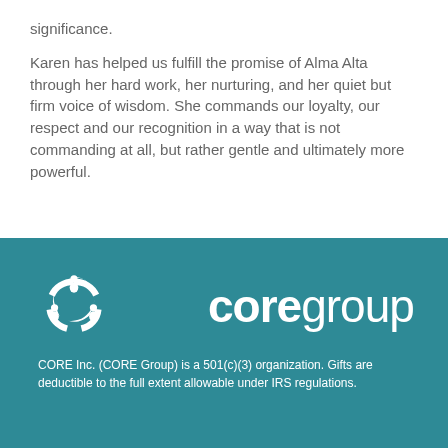significance.
Karen has helped us fulfill the promise of Alma Alta through her hard work, her nurturing, and her quiet but firm voice of wisdom. She commands our loyalty, our respect and our recognition in a way that is not commanding at all, but rather gentle and ultimately more powerful.
[Figure (logo): CORE Group logo — white icon of three figures in a circular arrangement, followed by the word 'core' in bold white and 'group' in regular white, on a teal background.]
CORE Inc. (CORE Group) is a 501(c)(3) organization. Gifts are deductible to the full extent allowable under IRS regulations.